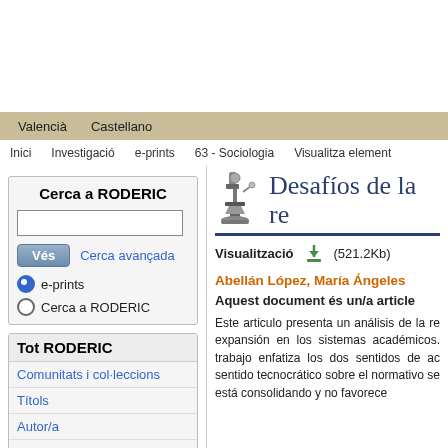Valencià  Castellano
Inici  Investigació  e-prints  63 - Sociologia  Visualitza element
Cerca a RODERIC
Vés  Cerca avançada
e-prints
Cerca a RODERIC
Tot RODERIC
Comunitats i col·leccions
Títols
Autor/a
Matèries
Tipus de document
Desafíos de la re...
Visualització   (521.2Kb)
Abellán López, María Ángeles
Aquest document és un/a article...
Este articulo presenta un análisis de la re... expansión en los sistemas académicos... trabajo enfatiza los dos sentidos de ac... sentido tecnocrático sobre el normativo... se está consolidando y no favorece...